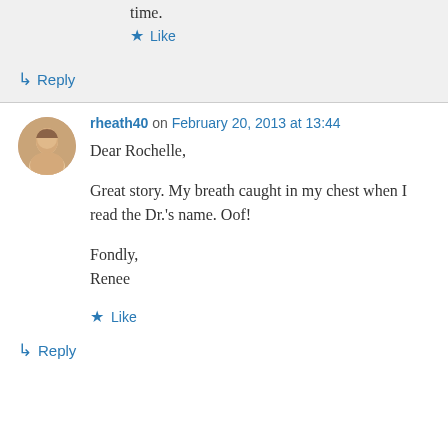time.
Like
Reply
rheath40 on February 20, 2013 at 13:44
Dear Rochelle,

Great story. My breath caught in my chest when I read the Dr.'s name. Oof!

Fondly,
Renee
Like
Reply